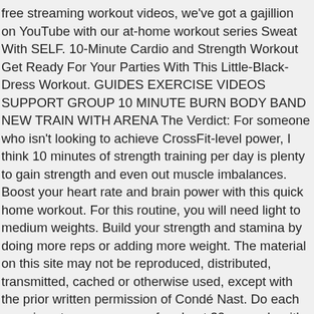free streaming workout videos, we've got a gajillion on YouTube with our at-home workout series Sweat With SELF. 10-Minute Cardio and Strength Workout Get Ready For Your Parties With This Little-Black-Dress Workout. GUIDES EXERCISE VIDEOS SUPPORT GROUP 10 MINUTE BURN BODY BAND NEW TRAIN WITH ARENA The Verdict: For someone who isn't looking to achieve CrossFit-level power, I think 10 minutes of strength training per day is plenty to gain strength and even out muscle imbalances. Boost your heart rate and brain power with this quick home workout. For this routine, you will need light to medium weights. Build your strength and stamina by doing more reps or adding more weight. The material on this site may not be reproduced, distributed, transmitted, cached or otherwise used, except with the prior written permission of Condé Nast. Do each exercise at your own pace for about 30 seconds with 30 seconds of cardio between exercises. 10-minute cardio workout. View All Start Slideshow. "This is very effective for [strengthening] the arms and working on posture," says Friedman. Read Next >> How to Engage